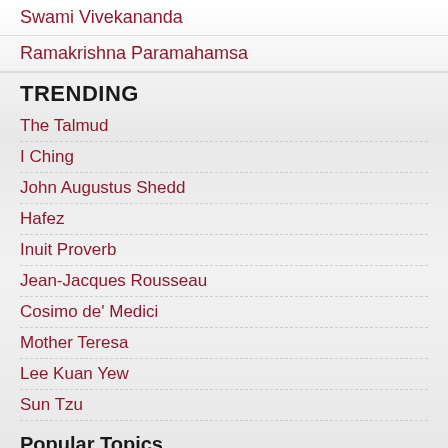Swami Vivekananda
Ramakrishna Paramahamsa
TRENDING
The Talmud
I Ching
John Augustus Shedd
Hafez
Inuit Proverb
Jean-Jacques Rousseau
Cosimo de' Medici
Mother Teresa
Lee Kuan Yew
Sun Tzu
Popular Topics
Action • Adversity • Age • Aging • Attitude • Belief • Books • Business • Change • Character • Confidence •